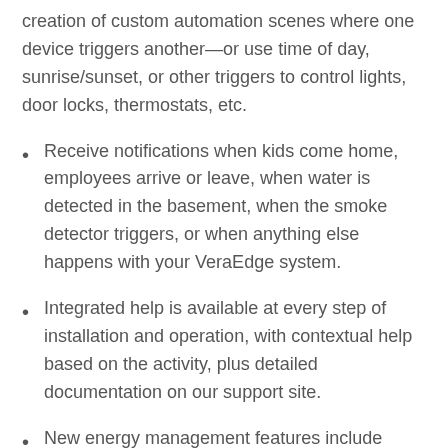creation of custom automation scenes where one device triggers another—or use time of day, sunrise/sunset, or other triggers to control lights, door locks, thermostats, etc.
Receive notifications when kids come home, employees arrive or leave, when water is detected in the basement, when the smoke detector triggers, or when anything else happens with your VeraEdge system.
Integrated help is available at every step of installation and operation, with contextual help based on the activity, plus detailed documentation on our support site.
New energy management features include reporting of household energy consumption (with daily, monthly and annual reporting) and quick dashboard display of